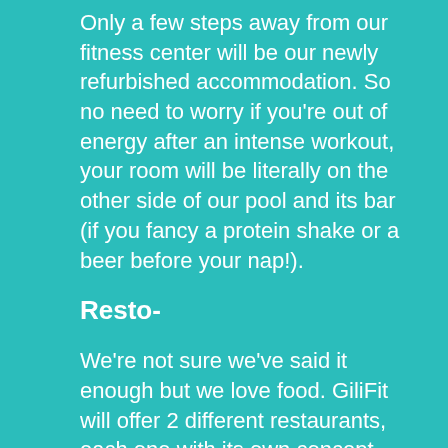Only a few steps away from our fitness center will be our newly refurbished accommodation. So no need to worry if you're out of energy after an intense workout, your room will be literally on the other side of our pool and its bar (if you fancy a protein shake or a beer before your nap!).
Resto-
We're not sure we've said it enough but we love food. GiliFit will offer 2 different restaurants, each one with its own concept.